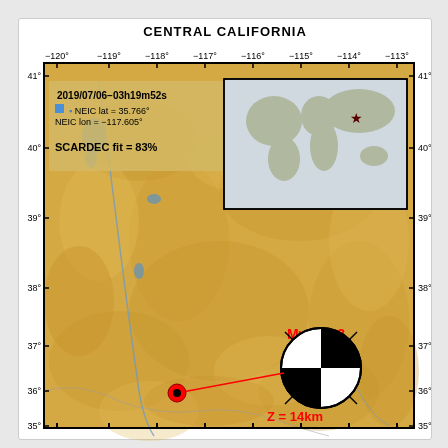CENTRAL CALIFORNIA
[Figure (map): Topographic map of Central California region showing earthquake epicenter at 35.766°N, -117.605°E. Event: 2019/07/06-03h19m52s, NEIC lat=35.766°, NEIC lon=-117.605°, SCARDEC fit=83%, Mw=7.3, Z=14km. Includes world inset map with star marker, and beach ball focal mechanism diagram. Red circle marks epicenter, red line connects to focal mechanism.]